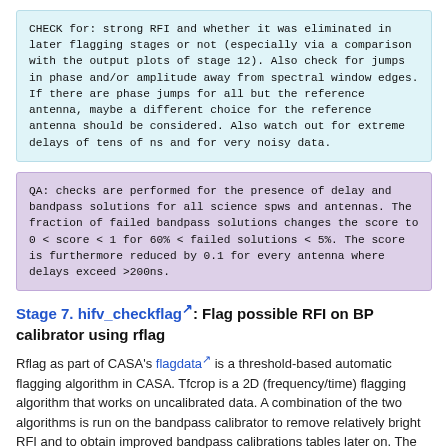CHECK for: strong RFI and whether it was eliminated in later flagging stages or not (especially via a comparison with the output plots of stage 12). Also check for jumps in phase and/or amplitude away from spectral window edges. If there are phase jumps for all but the reference antenna, maybe a different choice for the reference antenna should be considered. Also watch out for extreme delays of tens of ns and for very noisy data.
QA: checks are performed for the presence of delay and bandpass solutions for all science spws and antennas. The fraction of failed bandpass solutions changes the score to 0 < score < 1 for 60% < failed solutions < 5%. The score is furthermore reduced by 0.1 for every antenna where delays exceed >200ns.
Stage 7. hifv_checkflag: Flag possible RFI on BP calibrator using rflag
Rflag as part of CASA's flagdata is a threshold-based automatic flagging algorithm in CASA. Tfcrop is a 2D (frequency/time) flagging algorithm that works on uncalibrated data. A combination of the two algorithms is run on the bandpass calibrator to remove relatively bright RFI and to obtain improved bandpass calibrations tables later on. The plots in Fig. 21 show